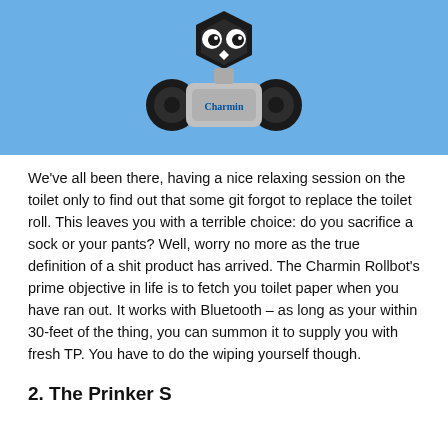[Figure (photo): Photo of the Charmin Rollbot robot on a blue background. It is a small wheeled robot with a hexagonal black head with googly eyes, black wheels, silver body, and a Charmin logo on the front.]
We've all been there, having a nice relaxing session on the toilet only to find out that some git forgot to replace the toilet roll. This leaves you with a terrible choice: do you sacrifice a sock or your pants? Well, worry no more as the true definition of a shit product has arrived. The Charmin Rollbot's prime objective in life is to fetch you toilet paper when you have ran out. It works with Bluetooth – as long as your within 30-feet of the thing, you can summon it to supply you with fresh TP. You have to do the wiping yourself though.
2. The Prinker S